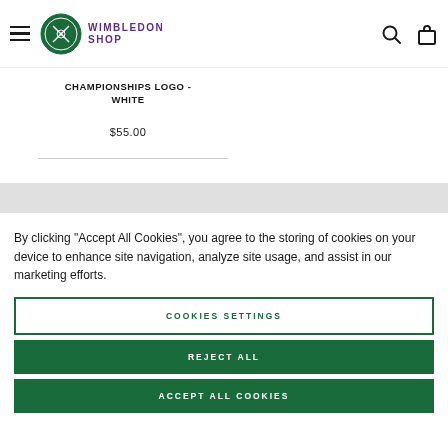Wimbledon Shop
CHAMPIONSHIPS LOGO - WHITE
$55.00
By clicking "Accept All Cookies", you agree to the storing of cookies on your device to enhance site navigation, analyze site usage, and assist in our marketing efforts.
COOKIES SETTINGS
REJECT ALL
ACCEPT ALL COOKIES